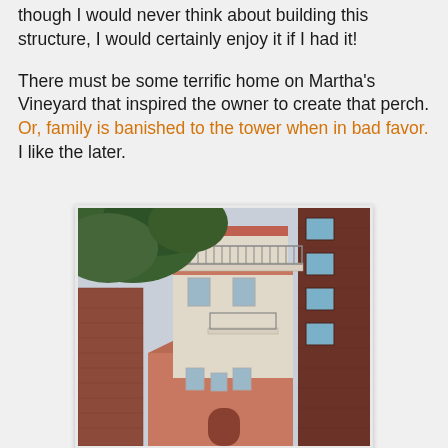though I would never think about building this structure, I would certainly enjoy it if I had it!
There must be some terrific home on Martha's Vineyard that inspired the owner to create that perch. Or, family is banished to the tower when in bad favor. I like the later.
[Figure (photo): Photograph looking up at a multi-story urban building with a distinctive tower/perch structure on top, featuring a balcony with metal railings. Red brick buildings flank both sides. Tree branches visible in upper left. Overcast sky.]